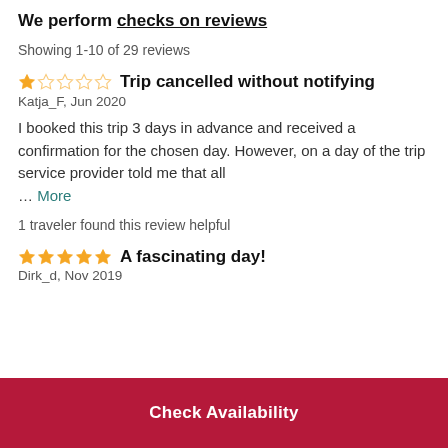We perform checks on reviews
Showing 1-10 of 29 reviews
Trip cancelled without notifying
Katja_F, Jun 2020
I booked this trip 3 days in advance and received a confirmation for the chosen day. However, on a day of the trip service provider told me that all … More
1 traveler found this review helpful
A fascinating day!
Dirk_d, Nov 2019
Check Availability